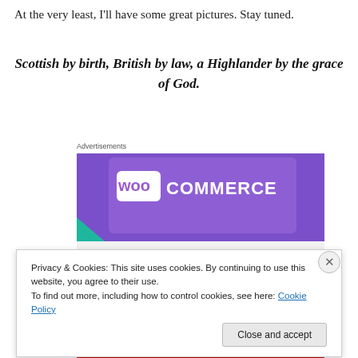At the very least, I'll have some great pictures. Stay tuned.
Scottish by birth, British by law, a Highlander by the grace of God.
Advertisements
[Figure (screenshot): WooCommerce advertisement banner showing 'How to start selling' text on a purple and light grey background with teal and blue decorative shapes]
Privacy & Cookies: This site uses cookies. By continuing to use this website, you agree to their use.
To find out more, including how to control cookies, see here: Cookie Policy
Close and accept